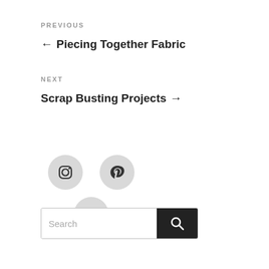PREVIOUS
← Piecing Together Fabric
NEXT
Scrap Busting Projects →
[Figure (infographic): Three social media icon buttons in a staggered grid: Instagram (top-left), Pinterest (top-right), Twitter (bottom-center). Each icon is a circle with a gray background.]
[Figure (infographic): Search bar with text input area showing placeholder 'Search' and a black button with a magnifying glass icon on the right.]